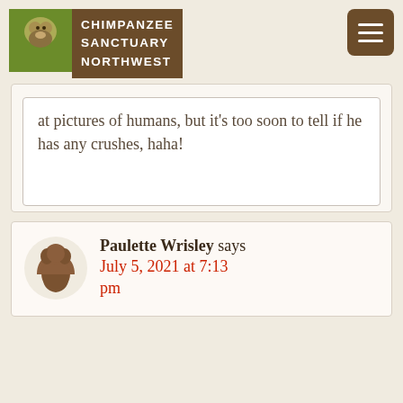Chimpanzee Sanctuary Northwest
at pictures of humans, but it's too soon to tell if he has any crushes, haha!
Paulette Wrisley says July 5, 2021 at 7:13 pm